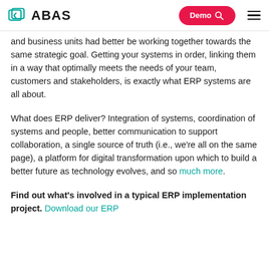ABAS | Demo
and business units had better be working together towards the same strategic goal. Getting your systems in order, linking them in a way that optimally meets the needs of your team, customers and stakeholders, is exactly what ERP systems are all about.
What does ERP deliver? Integration of systems, coordination of systems and people, better communication to support collaboration, a single source of truth (i.e., we're all on the same page), a platform for digital transformation upon which to build a better future as technology evolves, and so much more.
Find out what's involved in a typical ERP implementation project. Download our ERP